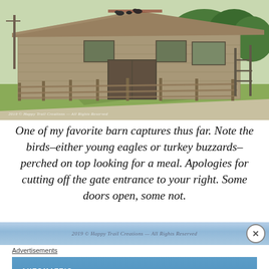[Figure (photo): Photograph of a large weathered wooden barn with a fence line extending to the right. Birds are perched on top of the barn roof. Green grass and trees visible in the background. Gravel/dirt road in foreground. Copyright watermark in lower left.]
One of my favorite barn captures thus far. Note the birds–either young eagles or turkey buzzards– perched on top looking for a meal. Apologies for cutting off the gate entrance to your right. Some doors open, some not.
[Figure (other): Light blue banner strip with cursive watermark text and a circular close (X) button on the right side.]
Advertisements
[Figure (other): Blue advertisement box with AUTOMATTIC brand name and tagline 'Love working again.']